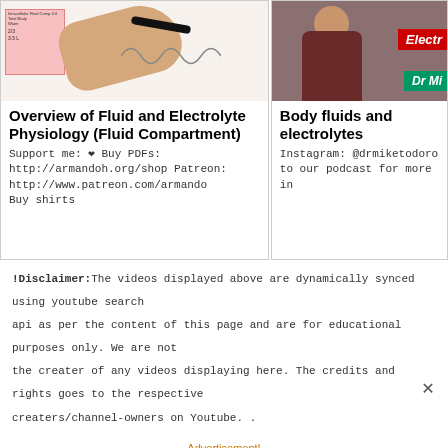[Figure (screenshot): Video thumbnail showing a hand writing on a whiteboard with fluid compartment diagrams]
Overview of Fluid and Electrolyte Physiology (Fluid Compartment)
Support me: ❤ Buy PDFs: http://armandoh.org/shop Patreon: http://www.patreon.com/armando Buy shirts
[Figure (screenshot): Video thumbnail of Dr M presenting about body fluids and electrolytes, with red Electro badge and green Dr M badge]
Body fluids and electrolytes
Instagram: @drmiketodoro to our podcast for more in
!Disclaimer:The videos displayed above are dynamically synced using youtube search api as per the content of this page and are for educational purposes only. We are not the creater of any videos displaying here. The credits and rights goes to the respective creaters/channel-owners on Youtube. .
Advertisement!